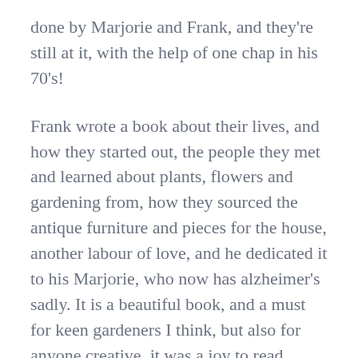done by Marjorie and Frank, and they're still at it, with the help of one chap in his 70's!
Frank wrote a book about their lives, and how they started out, the people they met and learned about plants, flowers and gardening from, how they sourced the antique furniture and pieces for the house, another labour of love, and he dedicated it to his Marjorie, who now has alzheimer's sadly. It is a beautiful book, and a must for keen gardeners I think, but also for anyone creative, it was a joy to read. There are